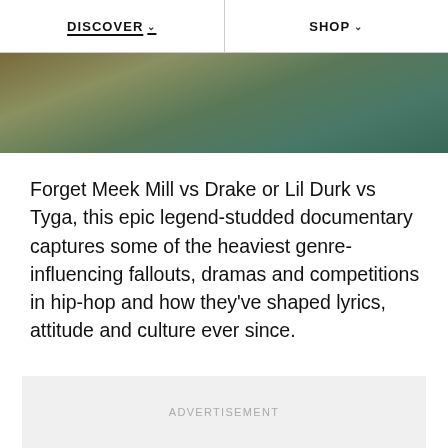DISCOVER  SHOP
[Figure (photo): Abstract gradient hero image with earthy greens, teal and olive tones fading from warm to cool]
Forget Meek Mill vs Drake or Lil Durk vs Tyga, this epic legend-studded documentary captures some of the heaviest genre-influencing fallouts, dramas and competitions in hip-hop and how they've shaped lyrics, attitude and culture ever since.
ADVERTISEMENT